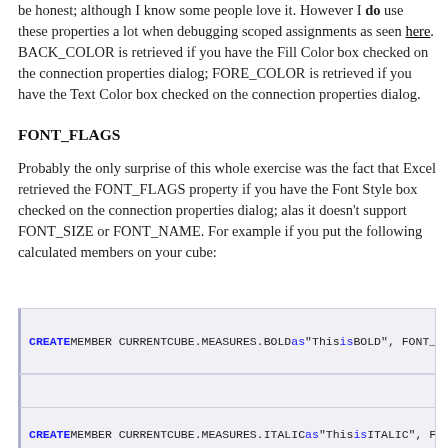be honest; although I know some people love it. However I do use these properties a lot when debugging scoped assignments as seen here. BACK_COLOR is retrieved if you have the Fill Color box checked on the connection properties dialog; FORE_COLOR is retrieved if you have the Text Color box checked on the connection properties dialog.
FONT_FLAGS
Probably the only surprise of this whole exercise was the fact that Excel retrieved the FONT_FLAGS property if you have the Font Style box checked on the connection properties dialog; alas it doesn't support FONT_SIZE or FONT_NAME. For example if you put the following calculated members on your cube:
CREATE MEMBER CURRENTCUBE.MEASURES.BOLD as "This is BOLD", FONT_FLAG...
(empty code block)
CREATE MEMBER CURRENTCUBE.MEASURES.ITALIC as "This is ITALIC", FONT_...